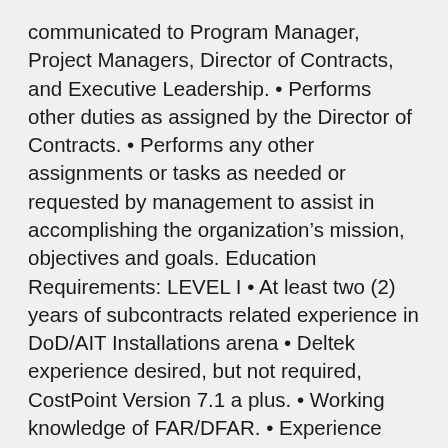communicated to Program Manager, Project Managers, Director of Contracts, and Executive Leadership. • Performs other duties as assigned by the Director of Contracts. • Performs any other assignments or tasks as needed or requested by management to assist in accomplishing the organization's mission, objectives and goals. Education Requirements: LEVEL I • At least two (2) years of subcontracts related experience in DoD/AIT Installations arena • Deltek experience desired, but not required, CostPoint Version 7.1 a plus. • Working knowledge of FAR/DFAR. • Experience with CPFF, CPIF, FPI, and FFP (sub)contract types. • Experience with DCAA and DCMA audits and compliance, including CPSR and Business System Reviews. • Must be proficient in Microsoft Word, Excel, and SharePoint. • Must be able to work independently or in a team environment. LEVEL II